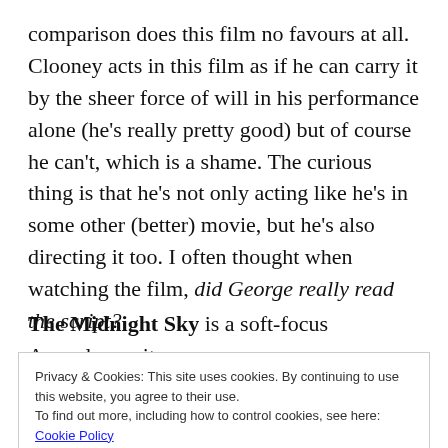comparison does this film no favours at all. Clooney acts in this film as if he can carry it by the sheer force of will in his performance alone (he's really pretty good) but of course he can't, which is a shame. The curious thing is that he's not only acting like he's in some other (better) movie, but he's also directing it too. I often thought when watching the film, did George really read the script?
The Midnight Sky is a soft-focus Apocalypse, its
Privacy & Cookies: This site uses cookies. By continuing to use this website, you agree to their use.
To find out more, including how to control cookies, see here: Cookie Policy
opening text as 'Three weeks after the Event' which